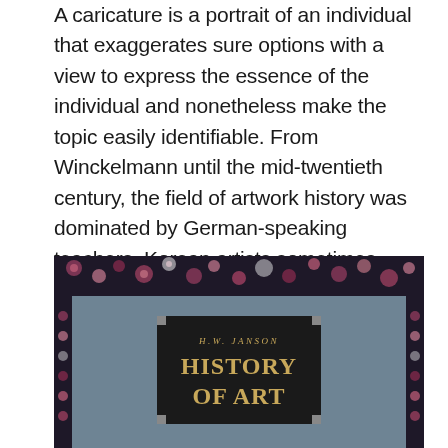A caricature is a portrait of an individual that exaggerates sure options with a view to express the essence of the individual and nonetheless make the topic easily identifiable. From Winckelmann until the mid-twentieth century, the field of artwork history was dominated by German-speaking teachers. Korean artists sometimes modified Chinese traditions with a native desire for simple class, spontaneity, and an appreciation for purity of nature.
[Figure (photo): A photograph of a book titled 'History of Art' by H.W. Janson, showing the book's spine or cover with a dark label containing gold text, set against a blue-grey cloth cover and a decorative floral rug background at the top.]